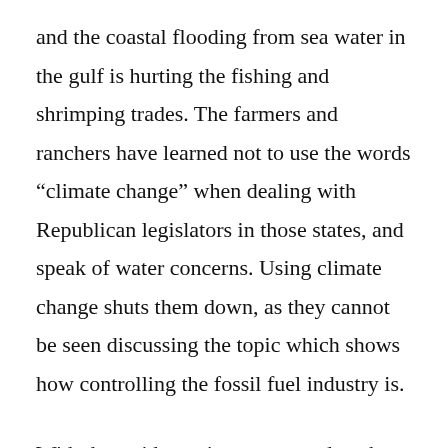and the coastal flooding from sea water in the gulf is hurting the fishing and shrimping trades. The farmers and ranchers have learned not to use the words “climate change” when dealing with Republican legislators in those states, and speak of water concerns. Using climate change shuts them down, as they cannot be seen discussing the topic which shows how controlling the fossil fuel industry is.
With that said, a quiet secret needs to be told. Wind energy is growing rapidly across the plains states, with Texas being the 5th most prolific geography on wind energy in the world. And, Iowa gets 40% of its electricity